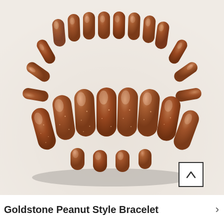[Figure (photo): A goldstone peanut style stretch bracelet made of brown glittery peanut-shaped beads arranged in a circular bracelet form, photographed on a light gray stone surface.]
Goldstone Peanut Style Bracelet